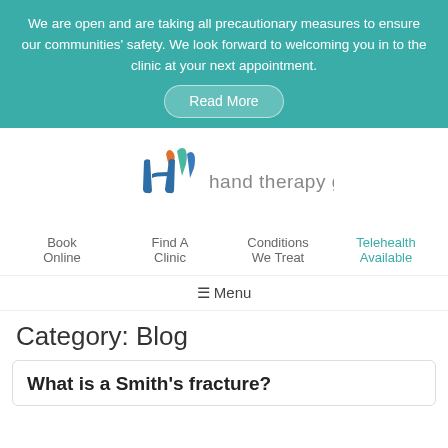We are open and are taking all precautionary measures to ensure our communities' safety. We look forward to welcoming you in to the clinic at your next appointment.
Read More
[Figure (logo): Hand Therapy Group logo with stylized hand icon and text 'hand therapy group']
Book Online
Find A Clinic
Conditions We Treat
Telehealth Available
≡ Menu
Category: Blog
What is a Smith's fracture?